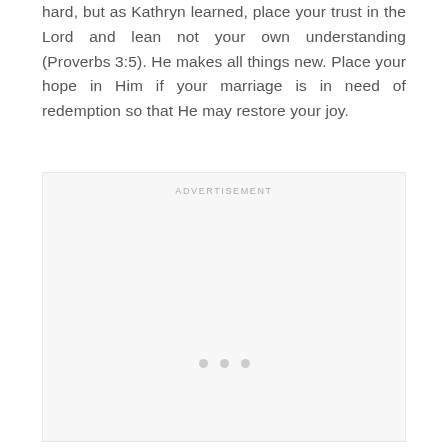hard, but as Kathryn learned, place your trust in the Lord and lean not your own understanding (Proverbs 3:5). He makes all things new. Place your hope in Him if your marriage is in need of redemption so that He may restore your joy.
[Figure (other): Advertisement placeholder area with 'ADVERTISEMENT' label and three dots loading indicator]